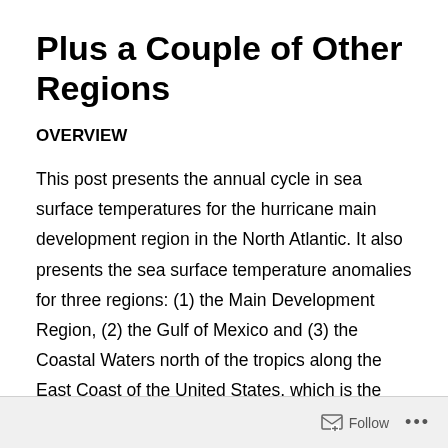Plus a Couple of Other Regions
OVERVIEW
This post presents the annual cycle in sea surface temperatures for the hurricane main development region in the North Atlantic.  It also presents the sea surface temperature anomalies for three regions: (1) the Main Development Region, (2) the Gulf of Mexico and (3) the Coastal Waters north of the tropics along the East Coast of the United States, which is the extratropical portion of Hurricane Sandy's path.  Those three subsets are presented in weekly and monthly formats using the satellite-based Reynolds OI.v2 sea surface temperature
Follow ...